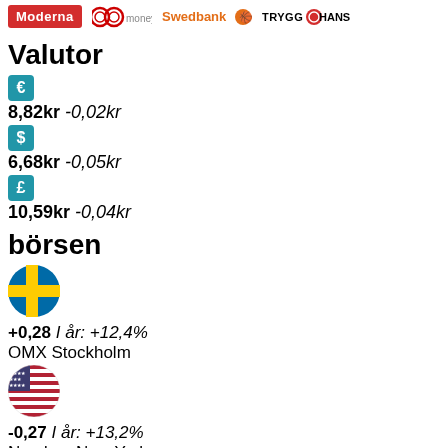[Figure (logo): Logos: Moderna, OK money, Swedbank, Trygg-Hansa]
Valutor
[Figure (logo): Euro currency icon (blue square with €)]
8,82kr -0,02kr
[Figure (logo): Dollar currency icon (blue square with $)]
6,68kr -0,05kr
[Figure (logo): Pound currency icon (blue square with £)]
10,59kr -0,04kr
börsen
[Figure (illustration): Swedish flag circle]
+0,28 I år: +12,4%
OMX Stockholm
[Figure (illustration): US flag circle]
-0,27 I år: +13,2%
Nasdaq, New York